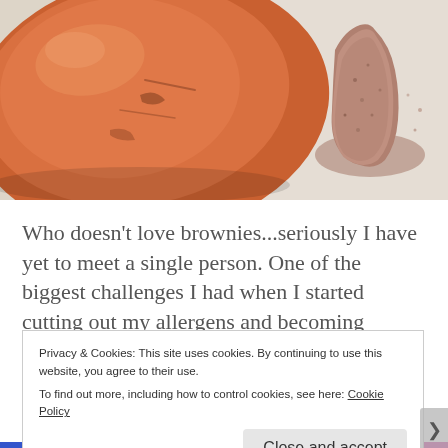[Figure (photo): Close-up photo of an orange sweet potato on the left side and a pile of brown spice powder on the right side, against a light background.]
Who doesn't love brownies...seriously I have yet to meet a single person. One of the biggest challenges I had when I started cutting out my allergens and becoming
Privacy & Cookies: This site uses cookies. By continuing to use this website, you agree to their use.
To find out more, including how to control cookies, see here: Cookie Policy
Close and accept